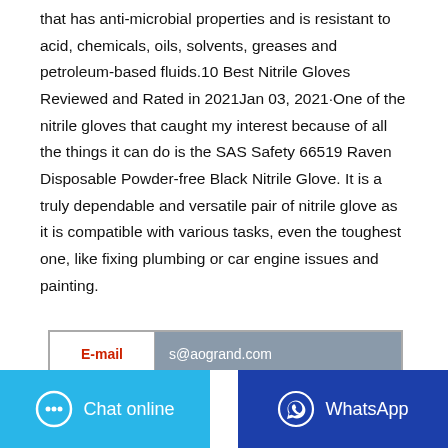that has anti-microbial properties and is resistant to acid, chemicals, oils, solvents, greases and petroleum-based fluids.10 Best Nitrile Gloves Reviewed and Rated in 2021Jan 03, 2021·One of the nitrile gloves that caught my interest because of all the things it can do is the SAS Safety 66519 Raven Disposable Powder-free Black Nitrile Glove. It is a truly dependable and versatile pair of nitrile glove as it is compatible with various tasks, even the toughest one, like fixing plumbing or car engine issues and painting.
| E-mail | s@aogrand.com |
| --- | --- |
|  |  |
Chat online
WhatsApp